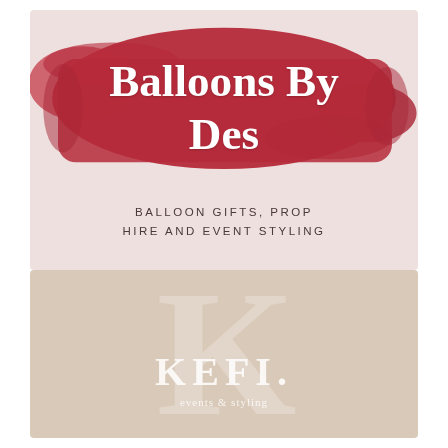[Figure (logo): Balloons By Des logo — white cursive text on red brushstroke background over pink/mauve card, with tagline 'BALLOON GIFTS, PROP HIRE AND EVENT STYLING']
[Figure (logo): KEFI. events & styling logo — tan/beige background with large faint K watermark letter and white serif KEFI. text with 'events & styling' subtitle]